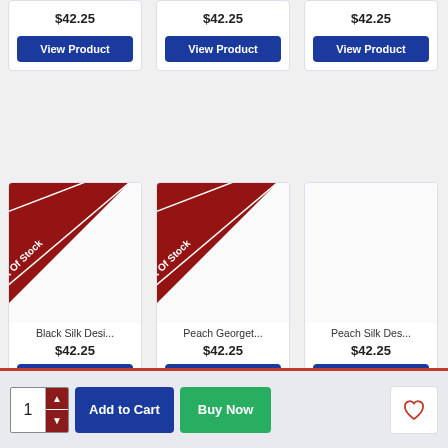[Figure (screenshot): E-commerce product listing page showing a 3-column grid of product cards. Top row shows three partial cards each priced at $42.25 with 'View Product' blue buttons. Middle row shows three cards with 'Out Of Stock' diagonal ribbons: Black Silk Desi... $42.25, Peach Georget... $42.25, Peach Silk Des... $42.25, each with a blue 'View Product' button. Bottom row shows two partial cards with 'Out Of Stock' ribbons partially visible. A WhatsApp button (green circle) appears bottom right. A bottom bar has quantity selector (1), Add to Cart button, Buy Now button, and heart/wishlist button.]